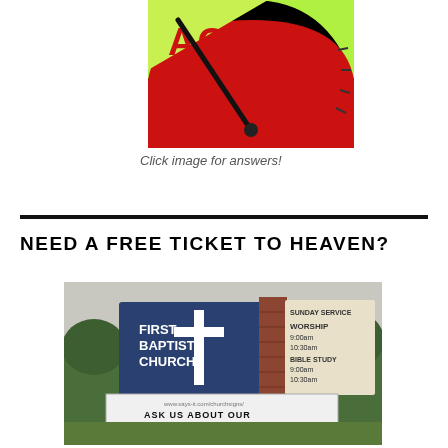[Figure (photo): Partial image of a speedometer or gauge showing green and red zones with text 'ACE!' visible at top]
Click image for answers!
NEED A FREE TICKET TO HEAVEN?
[Figure (photo): Photo of First Baptist Church outdoor sign with a cross, service times for worship and Bible study, and a marquee board reading 'ASK US ABOUT OUR FREE TICKETS TO HEAVEN! GET YOURS!' with www.says-it.com/churchsigns/ visible]